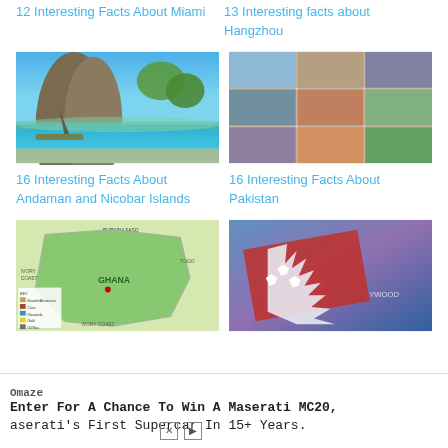12 Interesting Facts About Miami
13 Interesting facts about Hangzhou
[Figure (photo): Tropical beach with tall limestone cliffs and a longtail boat in turquoise water, lush greenery]
16 Interesting Facts About Andaman and Nicobar Islands
[Figure (photo): Mosaic collage of photos showing Pakistan scenes: cultural dances, camels, landscapes, crowds]
16 Interesting Facts About Pakistan
[Figure (map): Map of Ghana showing resources and regions including Burkina Faso, Ivory Coast, Togo, with a legend]
[Figure (photo): American flag waving with dramatic sky and Hollywood-style background]
Omaze
Enter For A Chance To Win A Maserati MC20, aserati's First Supercar In 15+ Years.